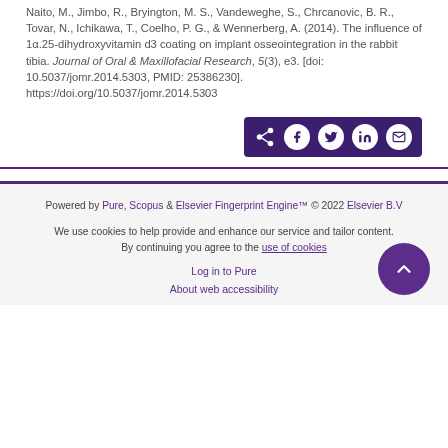Naito, M., Jimbo, R., Bryington, M. S., Vandeweghe, S., Chrcanovic, B. R., Tovar, N., Ichikawa, T., Coelho, P. G., & Wennerberg, A. (2014). The influence of 1α.25-dihydroxyvitamin d3 coating on implant osseointegration in the rabbit tibia. Journal of Oral & Maxillofacial Research, 5(3), e3. [doi: 10.5037/jomr.2014.5303, PMID: 25386230]. https://doi.org/10.5037/jomr.2014.5303
[Figure (other): Share bar with icons for share, Facebook, Twitter, LinkedIn, and email on a dark purple background]
Powered by Pure, Scopus & Elsevier Fingerprint Engine™ © 2022 Elsevier B.V
We use cookies to help provide and enhance our service and tailor content. By continuing you agree to the use of cookies
Log in to Pure
About web accessibility